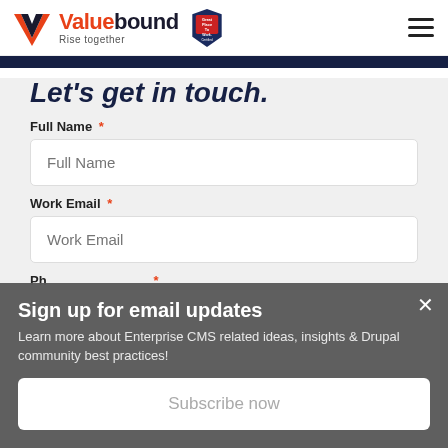[Figure (logo): Valuebound logo with orange V icon, 'Valuebound Rise together' text, and Great Place To Work Certified badge]
Let's get in touch.
Full Name *
Full Name (input placeholder)
Work Email *
Work Email (input placeholder)
Phone number *
Sign up for email updates
Learn more about Enterprise CMS related ideas, insights & Drupal community best practices!
Subscribe now